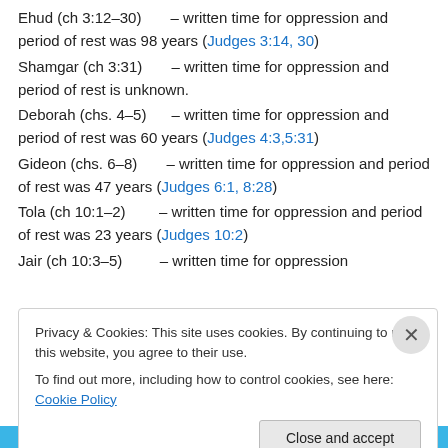Ehud (ch 3:12–30)  – written time for oppression and period of rest was 98 years (Judges 3:14, 30)
Shamgar (ch 3:31)  – written time for oppression and period of rest is unknown.
Deborah (chs. 4–5)  – written time for oppression and period of rest was 60 years (Judges 4:3,5:31)
Gideon (chs. 6–8)  – written time for oppression and period of rest was 47 years (Judges 6:1, 8:28)
Tola (ch 10:1–2)  – written time for oppression and period of rest was 23 years (Judges 10:2)
Jair (ch 10:3–5)  – written time for oppression
Privacy & Cookies: This site uses cookies. By continuing to use this website, you agree to their use. To find out more, including how to control cookies, see here: Cookie Policy